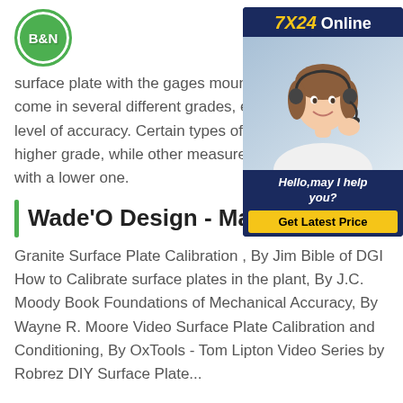B&N
surface plate with the gages mounted. Surface plates come in several different grades, each with its own level of accuracy. Certain types of work will require a higher grade, while other measurements can get by with a lower one.
[Figure (photo): 7X24 Online customer service advertisement with photo of woman with headset, tagline 'Hello, may I help you?' and 'Get Latest Price' button]
Wade'O Design - Making P...
Granite Surface Plate Calibration , By Jim Bible of DGI How to Calibrate surface plates in the plant, By J.C. Moody Book Foundations of Mechanical Accuracy, By Wayne R. Moore Video Surface Plate Calibration and Conditioning, By OxTools - Tom Lipton Video Series by Robrez DIY Surface Plate...